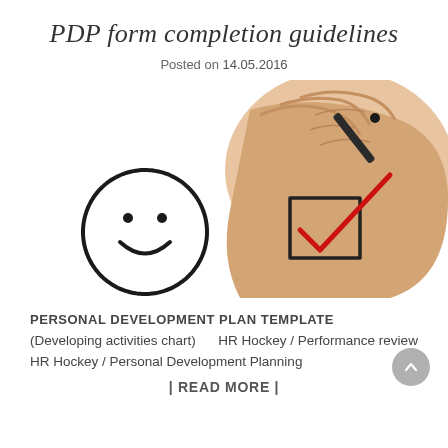PDP form completion guidelines
Posted on 14.05.2016
[Figure (photo): A hand holding a pen making a red checkmark in a drawn checkbox, next to a hand-drawn smiley face circle, on a white background.]
PERSONAL DEVELOPMENT PLAN TEMPLATE
(Developing activities chart)      HR Hockey / Performance review HR Hockey / Personal Development Planning
| READ MORE |